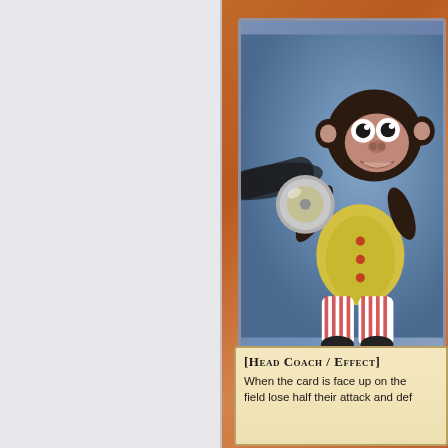[Figure (illustration): A Yu-Gi-Oh style trading card partially visible on the right half of the image. The card features a toy cymbal-banging monkey wearing a yellow vest and red-and-white striped pants, set against a blue background. The card has an orange-brown marbled border. At the bottom is a text box with card type and effect text.]
[HEAD COACH / EFFECT] When the card is face up on the field lose half their attack and def...